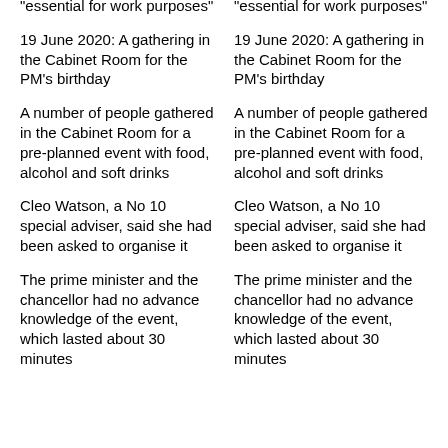"essential for work purposes"
"essential for work purposes"
19 June 2020: A gathering in the Cabinet Room for the PM's birthday
19 June 2020: A gathering in the Cabinet Room for the PM's birthday
A number of people gathered in the Cabinet Room for a pre-planned event with food, alcohol and soft drinks
A number of people gathered in the Cabinet Room for a pre-planned event with food, alcohol and soft drinks
Cleo Watson, a No 10 special adviser, said she had been asked to organise it
Cleo Watson, a No 10 special adviser, said she had been asked to organise it
The prime minister and the chancellor had no advance knowledge of the event, which lasted about 30 minutes
The prime minister and the chancellor had no advance knowledge of the event, which lasted about 30 minutes